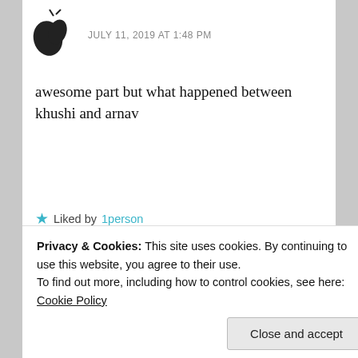JULY 11, 2019 AT 1:48 PM
awesome part but what happened between khushi and arnav
★ Liked by 1person
Reply
Gauri (cheers2all)
Privacy & Cookies: This site uses cookies. By continuing to use this website, you agree to their use.
To find out more, including how to control cookies, see here: Cookie Policy
Close and accept
Arnav. But you have changed that for me, Mira. It